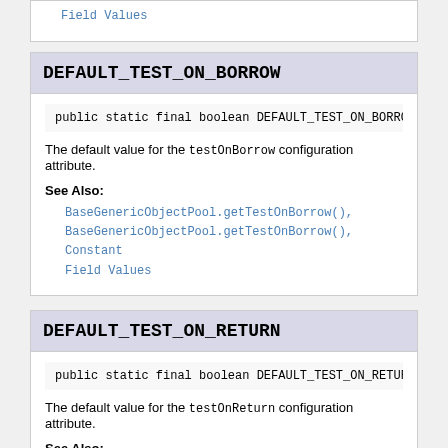Field Values
DEFAULT_TEST_ON_BORROW
public static final boolean DEFAULT_TEST_ON_BORROW
The default value for the testOnBorrow configuration attribute.
See Also:
BaseGenericObjectPool.getTestOnBorrow(),
BaseGenericObjectPool.getTestOnBorrow(), Constant Field Values
DEFAULT_TEST_ON_RETURN
public static final boolean DEFAULT_TEST_ON_RETURN
The default value for the testOnReturn configuration attribute.
See Also:
BaseGenericObjectPool.getTestOnReturn(),
BaseGenericObjectPool.getTestOnReturn(), Constant Field Values